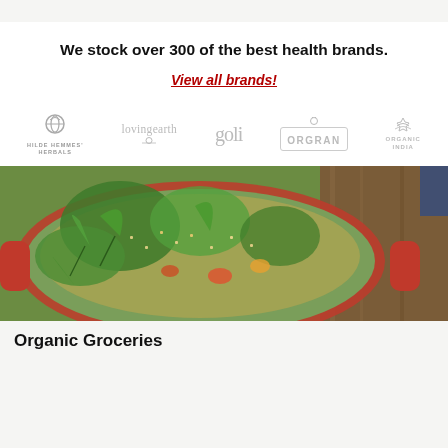We stock over 300 of the best health brands.
View all brands!
[Figure (logo): Row of brand logos: Hilde Hemmes Herbals, lovingearth, goli, ORGRAN, ORGANIC INDIA]
[Figure (photo): Close-up photo of a colorful grain and vegetable dish with fresh herbs in a red ceramic bowl on a wooden surface]
Organic Groceries